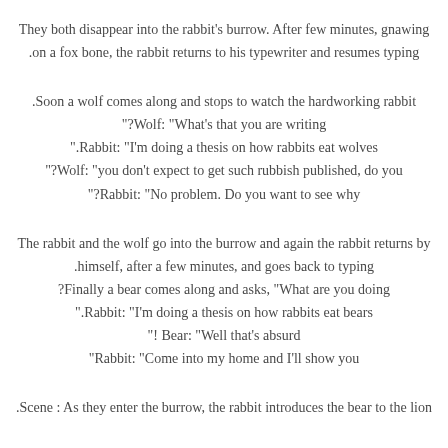They both disappear into the rabbit's burrow. After few minutes, gnawing on a fox bone, the rabbit returns to his typewriter and resumes typing.
Soon a wolf comes along and stops to watch the hardworking rabbit. Wolf: "What's that you are writing?" Rabbit: "I'm doing a thesis on how rabbits eat wolves." Wolf: "you don't expect to get such rubbish published, do you?" Rabbit: "No problem. Do you want to see why?"
The rabbit and the wolf go into the burrow and again the rabbit returns by himself, after a few minutes, and goes back to typing. Finally a bear comes along and asks, "What are you doing?" Rabbit: "I'm doing a thesis on how rabbits eat bears." Bear: "Well that's absurd!" Rabbit: "Come into my home and I'll show you"
Scene : As they enter the burrow, the rabbit introduces the bear to the lion.